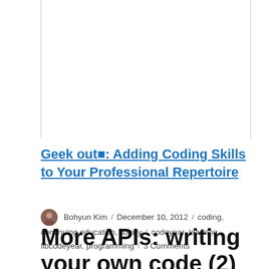Geek out: Adding Coding Skills to Your Professional Repertoire
Bohyun Kim / December 10, 2012 / coding, continuing education, library / codeyear, learning, libcodeyear, programming / 3 Comments
More APIs: writing your own code (2)